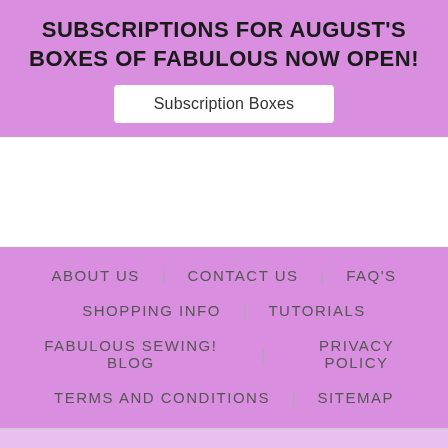SUBSCRIPTIONS FOR AUGUST'S BOXES OF FABULOUS NOW OPEN!
Subscription Boxes
ABOUT US   CONTACT US   FAQ'S   SHOPPING INFO   TUTORIALS   FABULOUS SEWING! BLOG   PRIVACY POLICY   TERMS AND CONDITIONS   SITEMAP